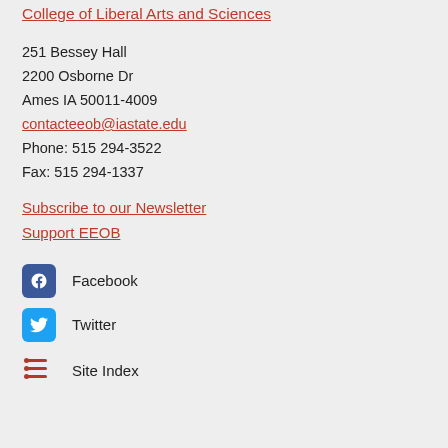College of Agriculture and Life Sciences
College of Liberal Arts and Sciences
251 Bessey Hall
2200 Osborne Dr
Ames IA 50011-4009
contacteeob@iastate.edu
Phone: 515 294-3522
Fax: 515 294-1337
Subscribe to our Newsletter
Support EEOB
Facebook
Twitter
Site Index